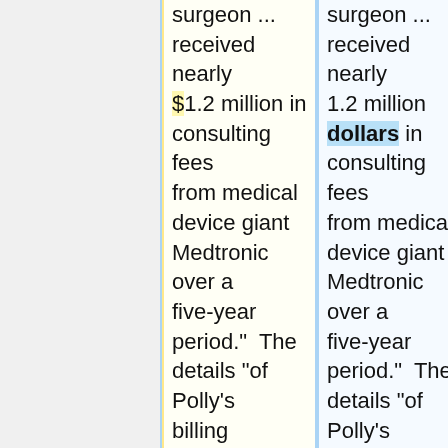surgeon ... received nearly $1.2 million in consulting fees from medical device giant Medtronic over a five-year period."  The details "of Polly's billing records were released this week by Sen. Charles Grassley, R-Iowa, as an attachment to a letter to University of Minnesota President Robert Bruininks. The letter raised
surgeon ... received nearly 1.2 million dollars in consulting fees from medical device giant Medtronic over a five-year period."  The details "of Polly's billing records were released this week by Sen. Charles Grassley, R-Iowa, as an attachment to a letter to University of Minnesota President Robert Bruininks. The